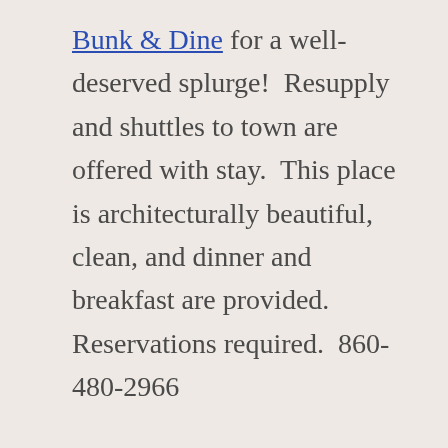Bunk & Dine for a well-deserved splurge!  Resupply and shuttles to town are offered with stay.  This place is architecturally beautiful, clean, and dinner and breakfast are provided.  Reservations required.  860-480-2966
Mile 1499 – Salisbury, CT, Page 154 and 155 – Ms. Maria Macabe and Vanessa Breton offer low cost bedrooms and showers for a night. The town has very limited resupply but several restaurants. Ms. Maria is a sweetheart and will drive you to a pizza place